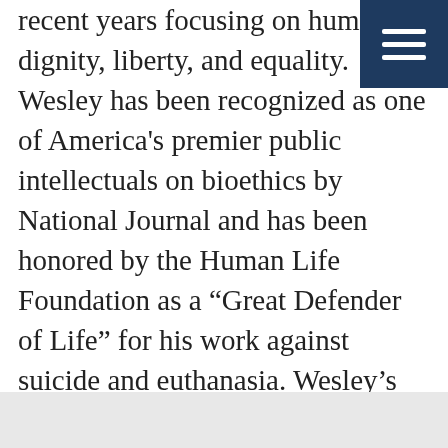recent years focusing on human dignity, liberty, and equality. Wesley has been recognized as one of America's premier public intellectuals on bioethics by National Journal and has been honored by the Human Life Foundation as a “Great Defender of Life” for his work against suicide and euthanasia. Wesley’s most recent book is Culture of Death: The Age of “Do Harm” Medicine, a warning about the dangers to patients of the modern bioethics movement.
Follow Wesley | Profile Twitter Facebook